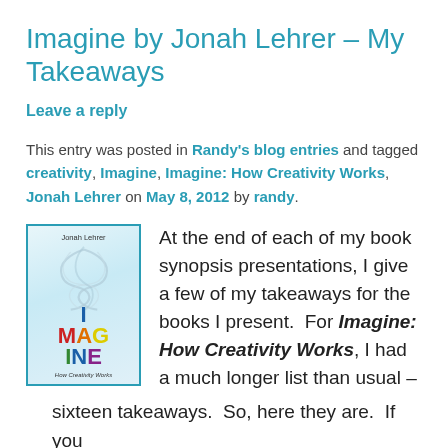Imagine by Jonah Lehrer – My Takeaways
Leave a reply
This entry was posted in Randy's blog entries and tagged creativity, Imagine, Imagine: How Creativity Works, Jonah Lehrer on May 8, 2012 by randy.
[Figure (photo): Book cover of 'Imagine: How Creativity Works' by Jonah Lehrer. Cover shows stylized swirling smoke/wind designs with colorful letters spelling IMAGINE. Blue border. Subtitle reads 'How Creativity Works'.]
At the end of each of my book synopsis presentations, I give a few of my takeaways for the books I present.  For Imagine: How Creativity Works, I had a much longer list than usual – sixteen takeaways.  So, here they are.  If you